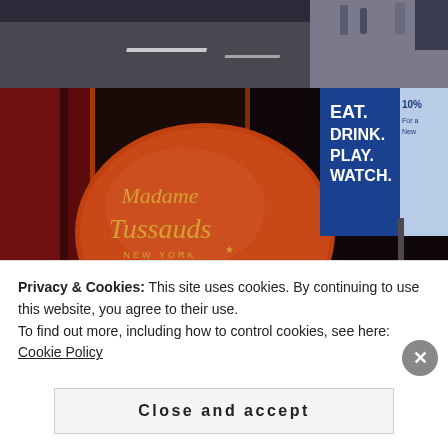[Figure (photo): Top portion of a street scene showing a road with white lane markings and sidewalk with pedestrians]
[Figure (photo): Madame Tussauds New York storefront at night with large orange oval sign showing 'Madame Tussauds New York', surrounded by Times Square signage including EAT DRINK PLAY, a diner sign, and various advertisements]
Privacy & Cookies: This site uses cookies. By continuing to use this website, you agree to their use.
To find out more, including how to control cookies, see here: Cookie Policy
Close and accept